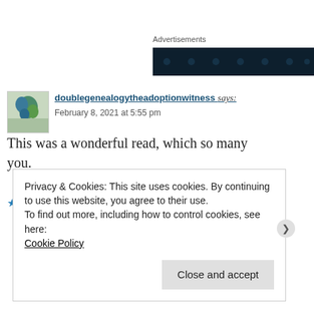Advertisements
[Figure (other): Dark navy blue advertisement banner with dot pattern]
doublegenealogytheadoptionwitness says:
February 8, 2021 at 5:55 pm
This was a wonderful read, which so many you.
★ Liked by 1 person
Privacy & Cookies: This site uses cookies. By continuing to use this website, you agree to their use.
To find out more, including how to control cookies, see here:
Cookie Policy
Close and accept